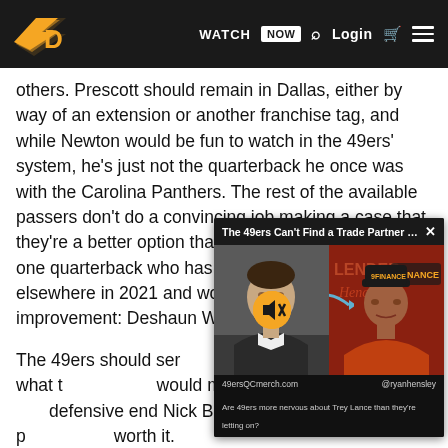WATCH NOW | Login
others. Prescott should remain in Dallas, either by way of an extension or another franchise tag, and while Newton would be fun to watch in the 49ers' system, he's just not the quarterback he once was with the Carolina Panthers. The rest of the available passers don't do a convincing job making a case that they're a better option than Garoppolo. But there is one quarterback who has expressed a desire to play elsewhere in 2021 and would be a clear improvement: Deshaun Watson.
The 49ers should ser... already, doing what t... would mean trading f... defensive end Nick B... Warner. It's a steep p... worth it.
[Figure (screenshot): Video overlay popup with title 'The 49ers Can't Find a Trade Partner fo...' showing two men in a video thumbnail with 49ersQCmerch.com and @ryanhensley labels, and a muted speaker icon.]